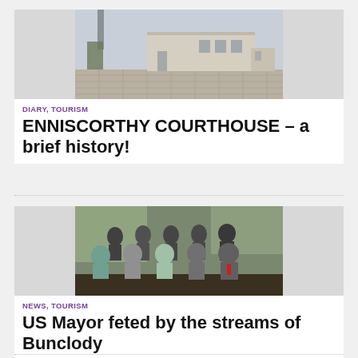[Figure (photo): Exterior photo of Enniscorthy Courthouse building, a modern stone/concrete structure with a church steeple visible in background]
DIARY, TOURISM
ENNISCORTHY COURTHOUSE – a brief history!
[Figure (photo): Group photo of approximately 10 people seated and standing indoors, mixed formal and casual attire]
NEWS, TOURISM
US Mayor feted by the streams of Bunclody